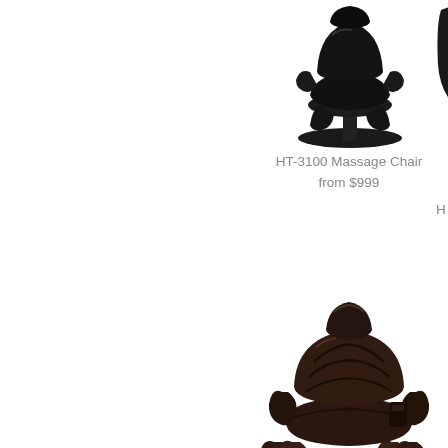[Figure (photo): HT-3100 Massage Chair product photo, black leather recliner on round base, top portion of chair visible]
HT-3100 Massage Chair
from $999
[Figure (photo): Partial view of another massage chair on right side, cropped]
[Figure (photo): HT-5320 Massage Chair product photo, dark brown leather full-body massage recliner with leg massager extensions]
HT-5320 Massage Chair
from $1795
WholeB
[Figure (photo): Bottom portion of another massage device, black, showing handlebar and base, partially cropped at bottom of page]